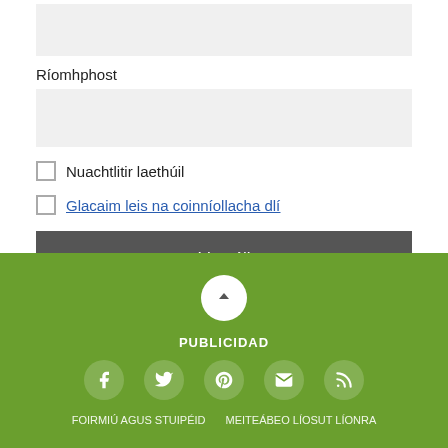Ríomhphost
Nuachtlitir laethúil
Glacaim leis na coinníollacha dlí
Liostáil
[Figure (infographic): Green footer section with scroll-to-top button, PUBLICIDAD label, and social media icons (Facebook, Twitter, Pinterest, Email, RSS)]
PUBLICIDAD